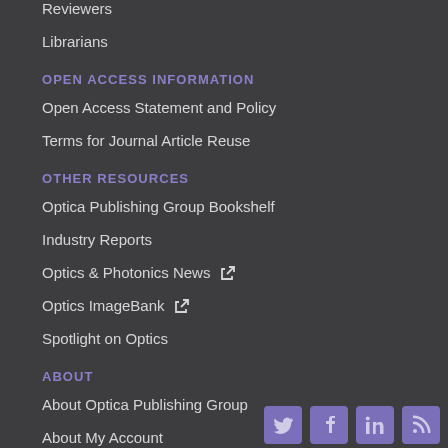Reviewers
Librarians
OPEN ACCESS INFORMATION
Open Access Statement and Policy
Terms for Journal Article Reuse
OTHER RESOURCES
Optica Publishing Group Bookshelf
Industry Reports
Optics & Photonics News ↗
Optics ImageBank ↗
Spotlight on Optics
ABOUT
About Optica Publishing Group
About My Account
Contact Us
Send Us Feedback
[Figure (other): Social media icons: Twitter, Facebook, LinkedIn, RSS feed]